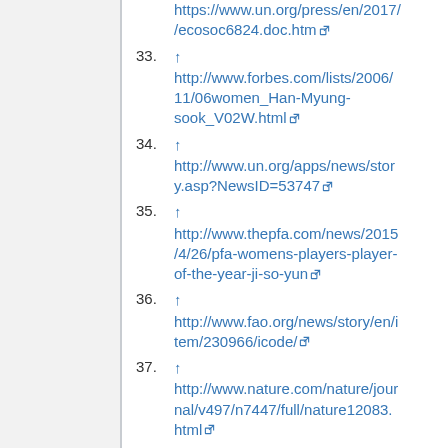(continuation) https://www.un.org/press/en/2017/ecosoc6824.doc.htm
33. ↑ http://www.forbes.com/lists/2006/11/06women_Han-Myung-sook_V02W.html
34. ↑ http://www.un.org/apps/news/story.asp?NewsID=53747
35. ↑ http://www.thepfa.com/news/2015/4/26/pfa-womens-players-player-of-the-year-ji-so-yun
36. ↑ http://www.fao.org/news/story/en/item/230966/icode/
37. ↑ http://www.nature.com/nature/journal/v497/n7447/full/nature12083.html